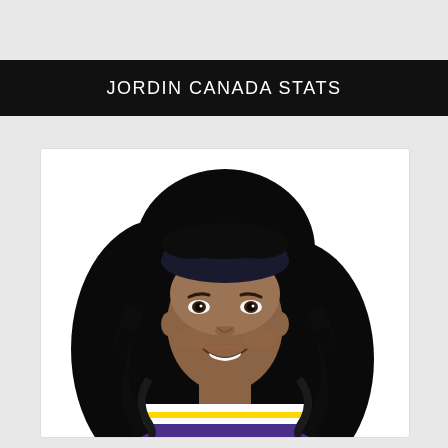JORDIN CANADA STATS
[Figure (photo): Headshot portrait of Jordin Canada, a female basketball player, smiling, wearing a black headband and a purple/gold/white basketball jersey (Los Angeles Sparks uniform). She has long dark wavy hair. White background.]